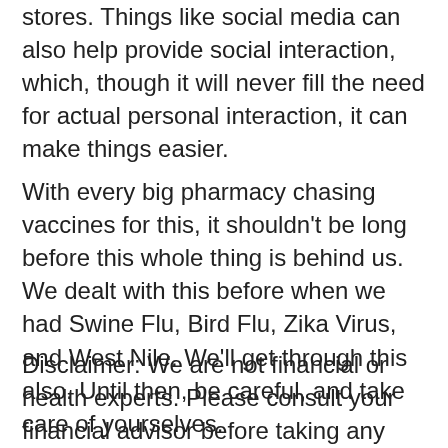stores. Things like social media can also help provide social interaction, which, though it will never fill the need for actual personal interaction, it can make things easier.
With every big pharmacy chasing vaccines for this, it shouldn’t be long before this whole thing is behind us. We dealt with this before when we had Swine Flu, Bird Flu, Zika Virus, and West Nile. We’ll get through this also. Until then, be careful, and take care of yourselves.
Disclaimer: We are not financial or health experts. Please consult your financial advisor before taking any action in the stock market. Also, please defer to experts on public health